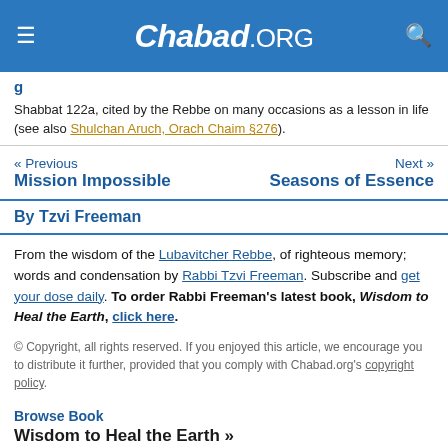Chabad.ORG
Shabbat 122a, cited by the Rebbe on many occasions as a lesson in life (see also Shulchan Aruch, Orach Chaim §276).
« Previous Mission Impossible    Next » Seasons of Essence
By Tzvi Freeman
From the wisdom of the Lubavitcher Rebbe, of righteous memory; words and condensation by Rabbi Tzvi Freeman. Subscribe and get your dose daily. To order Rabbi Freeman's latest book, Wisdom to Heal the Earth, click here.
© Copyright, all rights reserved. If you enjoyed this article, we encourage you to distribute it further, provided that you comply with Chabad.org's copyright policy.
Browse Book
Wisdom to Heal the Earth »